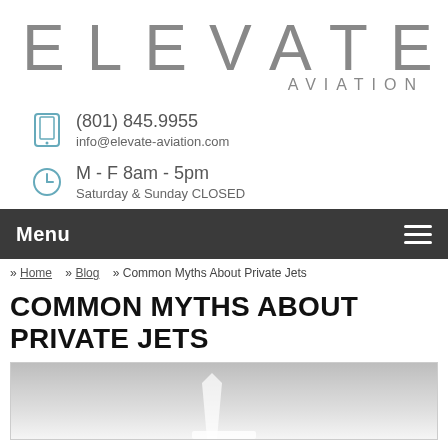[Figure (logo): Elevate Aviation logo — large spaced gray letters 'ELEVATE' with 'AVIATION' right-aligned below in smaller tracking]
(801) 845.9955
info@elevate-aviation.com
M - F 8am - 5pm
Saturday & Sunday CLOSED
Menu
» Home  » Blog  » Common Myths About Private Jets
COMMON MYTHS ABOUT PRIVATE JETS
[Figure (photo): Partial photo of a private jet, showing the tail fin area, gray and white tones, bottom of page]